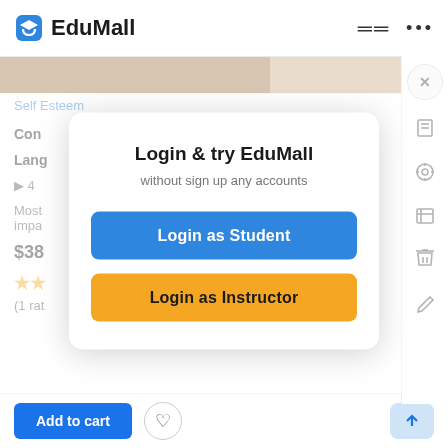EduMall
[Figure (screenshot): Partial image strip at top of content area, brownish tones]
Self Esteem
Con
Lanɡ
▶ 4
Mosᵗ
impa
$38
★★
(1 rat
[Figure (screenshot): Login modal dialog with blue 'Login as Student' button and yellow 'Login as Instructor' button, title 'Login & try EduMall', subtitle 'without sign up any accounts']
Login & try EduMall
without sign up any accounts
Login as Student
Login as Instructor
Add to cart